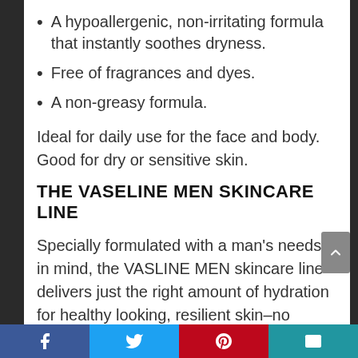A hypoallergenic, non-irritating formula that instantly soothes dryness.
Free of fragrances and dyes.
A non-greasy formula.
Ideal for daily use for the face and body. Good for dry or sensitive skin.
THE VASELINE MEN SKINCARE LINE
Specially formulated with a man's needs in mind, the VASLINE MEN skincare line delivers just the right amount of hydration for healthy looking, resilient skin–no matter what the day brings.
Social share bar: Facebook, Twitter, Pinterest, Email